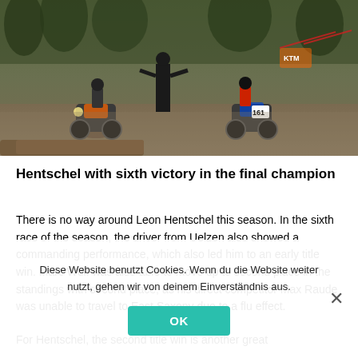[Figure (photo): Motocross race scene with riders on dirt bikes lined up at the start or on track, with race officials standing nearby, trees and flags in the background.]
Hentschel with sixth victory in the final champion
There is no way around Leon Hentschel this season. In the sixth race of the season, the driver from Uelzen also showed a commanding performance, which also led him to an early title win. Marc Wulf was also able to move up to second place in the standings with second place, as his direct competitor Max Raude was unable to travel to East Saxony due to a flu effect.
Diese Website benutzt Cookies. Wenn du die Website weiter nutzt, gehen wir von deinem Einverständnis aus.
For Hentschel, the second title win is another great